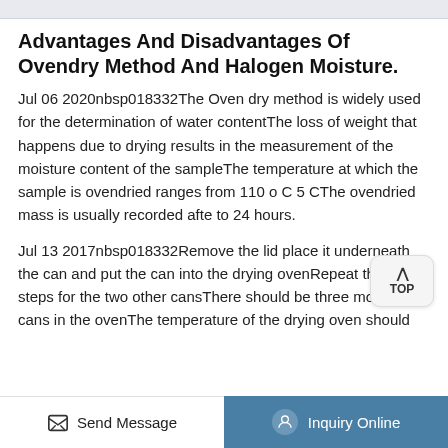Advantages And Disadvantages Of Ovendry Method And Halogen Moisture.
Jul 06 2020nbsp018332The Oven dry method is widely used for the determination of water contentThe loss of weight that happens due to drying results in the measurement of the moisture content of the sampleThe temperature at which the sample is ovendried ranges from 110 o C 5 CThe ovendried mass is usually recorded afte to 24 hours.
Jul 13 2017nbsp018332Remove the lid place it underneath the can and put the can into the drying ovenRepeat these steps for the two other cansThere should be three moisture cans in the ovenThe temperature of the drying oven should
Send Message   Inquiry Online